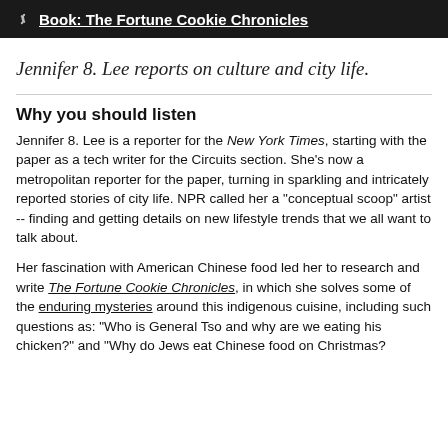Book: The Fortune Cookie Chronicles
Jennifer 8. Lee reports on culture and city life.
Why you should listen
Jennifer 8. Lee is a reporter for the New York Times, starting with the paper as a tech writer for the Circuits section. She's now a metropolitan reporter for the paper, turning in sparkling and intricately reported stories of city life. NPR called her a "conceptual scoop" artist -- finding and getting details on new lifestyle trends that we all want to talk about.
Her fascination with American Chinese food led her to research and write The Fortune Cookie Chronicles, in which she solves some of the enduring mysteries around this indigenous cuisine, including such questions as: "Who is General Tso and why are we eating his chicken?" and "Why do Jews eat Chinese food on Christmas?